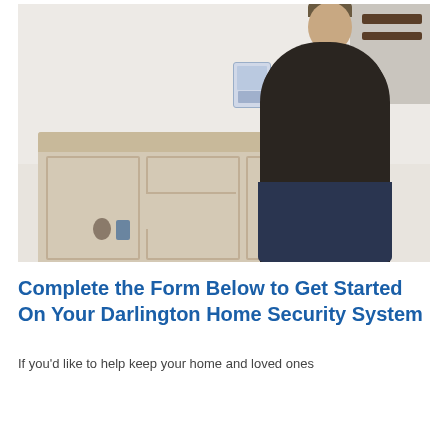[Figure (photo): A woman in a black top and dark jeans leans against a vintage cream-colored console dresser in a light-colored room. A home security keypad panel is mounted on the wall behind her. Decorative items including a small plant and ornaments sit on the dresser top. A staircase railing is visible in the top right corner.]
Complete the Form Below to Get Started On Your Darlington Home Security System
If you'd like to help keep your home and loved ones